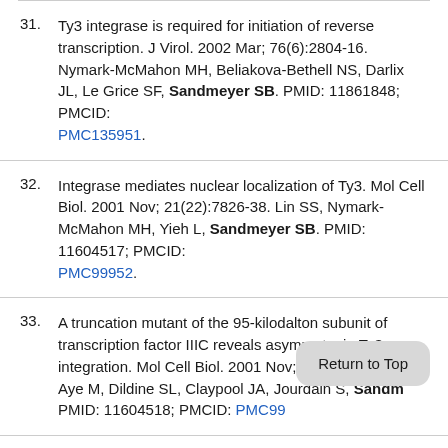31. Ty3 integrase is required for initiation of reverse transcription. J Virol. 2002 Mar; 76(6):2804-16. Nymark-McMahon MH, Beliakova-Bethell NS, Darlix JL, Le Grice SF, Sandmeyer SB. PMID: 11861848; PMCID: PMC135951.
32. Integrase mediates nuclear localization of Ty3. Mol Cell Biol. 2001 Nov; 21(22):7826-38. Lin SS, Nymark-McMahon MH, Yieh L, Sandmeyer SB. PMID: 11604517; PMCID: PMC99952.
33. A truncation mutant of the 95-kilodalton subunit of transcription factor IIIC reveals asymmetry in Ty3 integration. Mol Cell Biol. 2001 Nov; 21(22):7839-51. Aye M, Dildine SL, Claypool JA, Jourdain S, Sandmeyer SB. PMID: 11604518; PMCID: PMC99...
34. Ten-kilodalton domain in Ty3 Gag3-Pol3p...